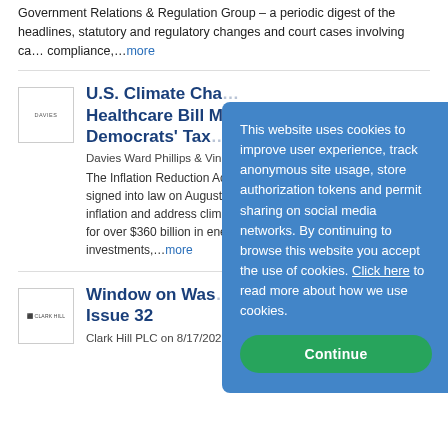Government Relations & Regulation Group – a periodic digest of the headlines, statutory and regulatory changes and court cases involving ca... compliance,...more
U.S. Climate Cha... Healthcare Bill M... Democrats' Tax...
Davies Ward Phillips & Vine...
The Inflation Reduction Act... signed into law on August 1... inflation and address climat... for over $360 billion in ene... investments,...more
Window on Was... Issue 32
Clark Hill PLC on 8/17/2022
This website uses cookies to improve user experience, track anonymous site usage, store authorization tokens and permit sharing on social media networks. By continuing to browse this website you accept the use of cookies. Click here to read more about how we use cookies.
Continue